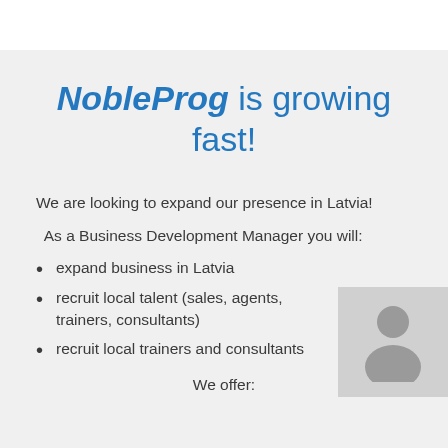NobleProg is growing fast!
We are looking to expand our presence in Latvia!
As a Business Development Manager you will:
expand business in Latvia
recruit local talent (sales, agents, trainers, consultants)
recruit local trainers and consultants
[Figure (illustration): Silhouette icon of a person on a grey background]
We offer: